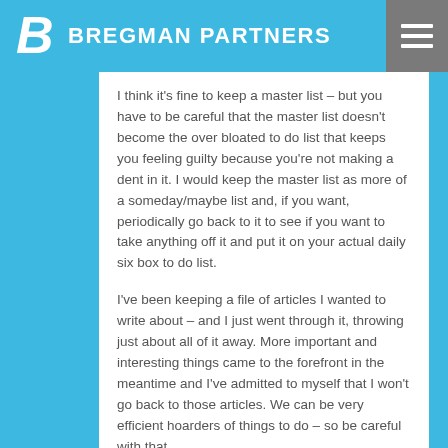BREGMAN PARTNERS
I think it's fine to keep a master list – but you have to be careful that the master list doesn't become the over bloated to do list that keeps you feeling guilty because you're not making a dent in it. I would keep the master list as more of a someday/maybe list and, if you want, periodically go back to it to see if you want to take anything off it and put it on your actual daily six box to do list.
I've been keeping a file of articles I wanted to write about – and I just went through it, throwing just about all of it away. More important and interesting things came to the forefront in the meantime and I've admitted to myself that I won't go back to those articles. We can be very efficient hoarders of things to do – so be careful with that . . .